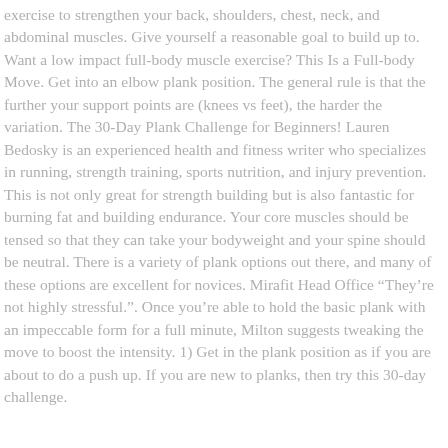exercise to strengthen your back, shoulders, chest, neck, and abdominal muscles. Give yourself a reasonable goal to build up to. Want a low impact full-body muscle exercise? This Is a Full-body Move. Get into an elbow plank position. The general rule is that the further your support points are (knees vs feet), the harder the variation. The 30-Day Plank Challenge for Beginners! Lauren Bedosky is an experienced health and fitness writer who specializes in running, strength training, sports nutrition, and injury prevention. This is not only great for strength building but is also fantastic for burning fat and building endurance. Your core muscles should be tensed so that they can take your bodyweight and your spine should be neutral. There is a variety of plank options out there, and many of these options are excellent for novices. Mirafit Head Office “They’re not highly stressful.”. Once you’re able to hold the basic plank with an impeccable form for a full minute, Milton suggests tweaking the move to boost the intensity. 1) Get in the plank position as if you are about to do a push up. If you are new to planks, then try this 30-day challenge.